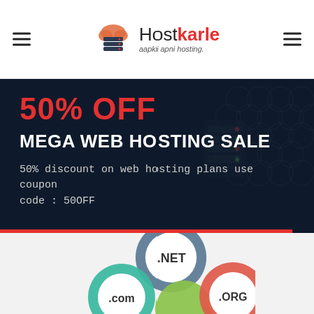Hostkarle - aapki apni hosting.
50% OFF
MEGA WEB HOSTING SALE
50% discount on web hosting plans use coupon code : 50OFF
[Figure (illustration): Domain extension circles showing .NET, .ORG and other TLD bubbles in teal, gray, green and red colors]